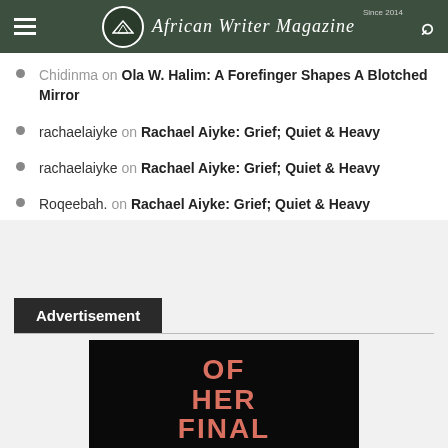African Writer Magazine
Chidinma on Ola W. Halim: A Forefinger Shapes A Blotched Mirror
rachaelaiyke on Rachael Aiyke: Grief; Quiet & Heavy
rachaelaiyke on Rachael Aiyke: Grief; Quiet & Heavy
Roqeebah. on Rachael Aiyke: Grief; Quiet & Heavy
Advertisement
[Figure (photo): Advertisement image with text reading 'OF HER FINAL DAYS' in large pink/salmon colored letters on a black background]